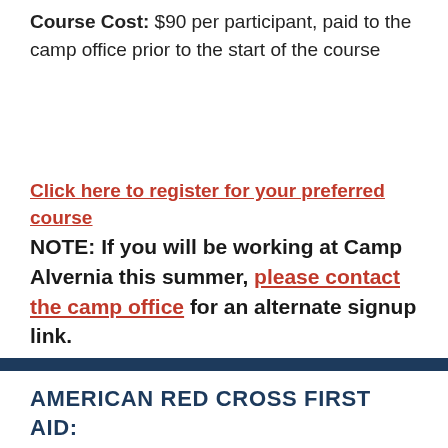Course Cost: $90 per participant, paid to the camp office prior to the start of the course
Click here to register for your preferred course
NOTE: If you will be working at Camp Alvernia this summer, please contact the camp office for an alternate signup link.
AMERICAN RED CROSS FIRST AID: RESPONDING TO EMERGENCIES